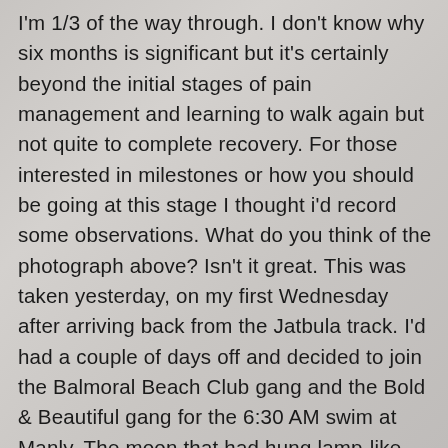I'm 1/3 of the way through. I don't know why six months is significant but it's certainly beyond the initial stages of pain management and learning to walk again but not quite to complete recovery. For those interested in milestones or how you should be going at this stage I thought i'd record some observations. What do you think of the photograph above? Isn't it great. This was taken yesterday, on my first Wednesday after arriving back from the Jatbula track. I'd had a couple of days off and decided to join the Balmoral Beach Club gang and the Bold & Beautiful gang for the 6:30 AM swim at Manly. The moon that had hung lamp-like over my campsite, lighting the pandanus and casting a silvery glow over the waterholes,  was now but a faint sliver. As I always do when I walk out in the morning, I stopped and stared at a pristine dawn.